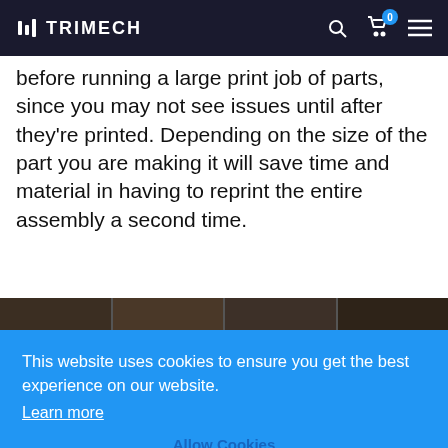TRIMECH
before running a large print job of parts, since you may not see issues until after they're printed. Depending on the size of the part you are making it will save time and material in having to reprint the entire assembly a second time.
[Figure (photo): Four dark brown textured surface tiles arranged side by side in a horizontal strip]
This website uses cookies to ensure you get the best experience on our website. Learn more
Allow Cookies
Changing the Scale of Your Image